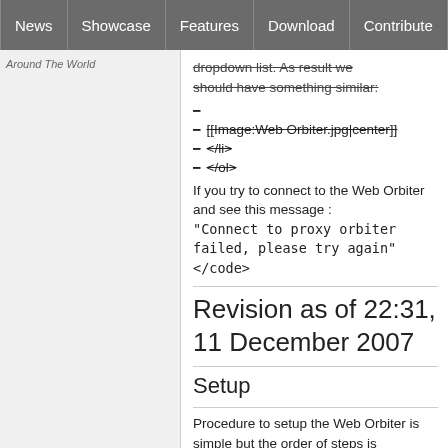News | Showcase | Features | Download | Contribute | Support
Around The World
dropdown list. As result we should have something similar:
– (strikethrough blank)
– [[Image:Web Orbiter.jpg|center]]
– </li>
– </ol>
If you try to connect to the Web Orbiter and see this message : <code>"Connect to proxy orbiter failed, please try again"</code>
Revision as of 22:31, 11 December 2007
Setup
Procedure to setup the Web Orbiter is simple but the order of steps is important.
1. First of all we should add a new